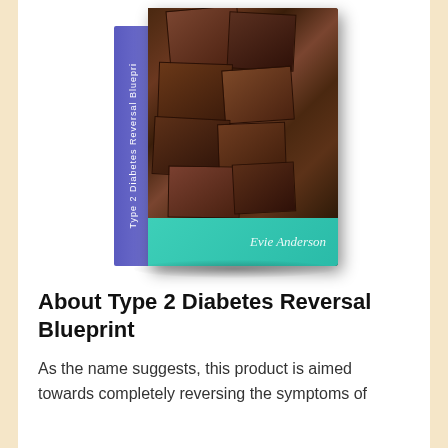[Figure (photo): A 3D rendered book titled 'Type 2 Diabetes Reversal Blueprint' with a chocolate pieces photo on the cover, a purple spine with the title text, and a teal/turquoise bottom band with an author signature (Evie Anderson). The book is shown at an angle as a physical book mockup.]
About Type 2 Diabetes Reversal Blueprint
As the name suggests, this product is aimed towards completely reversing the symptoms of